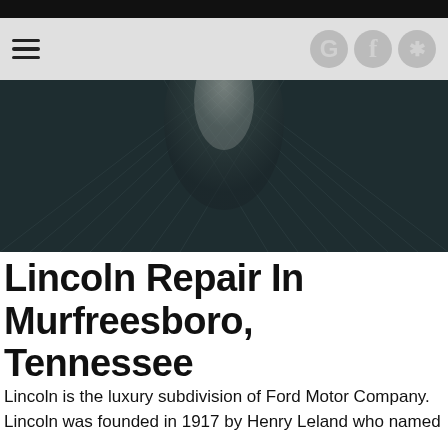[Figure (screenshot): Website navigation bar with hamburger menu on the left and three social media icons (Google, Facebook, Yelp) on the right on a light gray background, with a thin black bar at the top.]
[Figure (photo): Dark dramatic photo of a car hood or surface with light streaks and a glowing center highlight, used as a hero banner image.]
Lincoln Repair In Murfreesboro, Tennessee
Lincoln is the luxury subdivision of Ford Motor Company. Lincoln was founded in 1917 by Henry Leland who named...